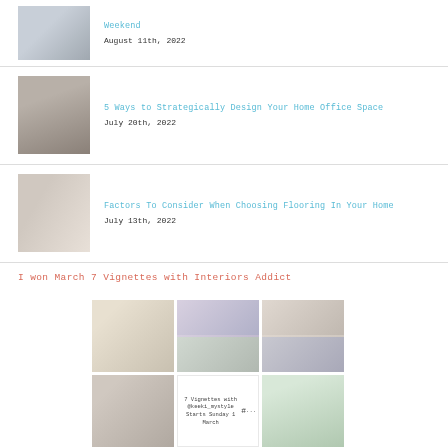[Figure (photo): Living room interior thumbnail]
Weekend
August 11th, 2022
[Figure (photo): Home office bookshelf interior thumbnail]
5 Ways to Strategically Design Your Home Office Space
July 20th, 2022
[Figure (photo): Flooring/shelving interior thumbnail]
Factors To Consider When Choosing Flooring In Your Home
July 13th, 2022
I won March 7 Vignettes with Interiors Addict
[Figure (photo): Collage of 7 Vignettes with Interiors Addict contest images showing fashion items, ampersand decoration, hello sign, shelf display, room with dots pattern, vignette text card, and plant]